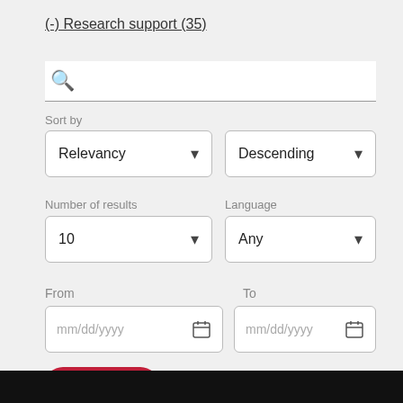(-) Research support (35)
Sort by
Relevancy
Descending
Number of results
Language
10
Any
From
To
mm/dd/yyyy
mm/dd/yyyy
Search